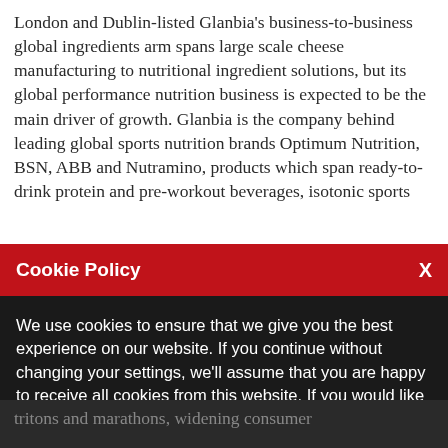London and Dublin-listed Glanbia's business-to-business global ingredients arm spans large scale cheese manufacturing to nutritional ingredient solutions, but its global performance nutrition business is expected to be the main driver of growth. Glanbia is the company behind leading global sports nutrition brands Optimum Nutrition, BSN, ABB and Nutramino, products which span ready-to-drink protein and pre-workout beverages, isotonic sports
Cookie Policy
We use cookies to ensure that we give you the best experience on our website. If you continue without changing your settings, we'll assume that you are happy to receive all cookies from this website. If you would like to change your preferences you may do so by following the instructions here.